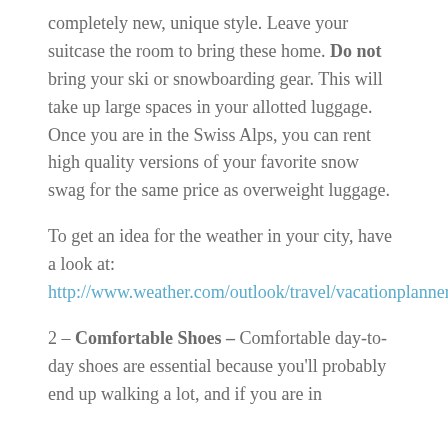completely new, unique style. Leave your suitcase the room to bring these home. Do not bring your ski or snowboarding gear. This will take up large spaces in your allotted luggage. Once you are in the Swiss Alps, you can rent high quality versions of your favorite snow swag for the same price as overweight luggage.
To get an idea for the weather in your city, have a look at: http://www.weather.com/outlook/travel/vacationplanner/vacationclimatology/monthly/ITXX0067
2 – Comfortable Shoes – Comfortable day-to-day shoes are essential because you'll probably end up walking a lot, and if you are in